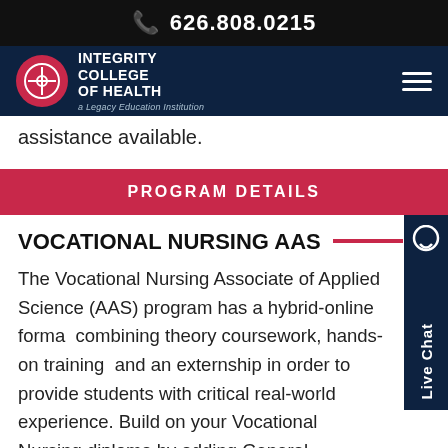626.808.0215
[Figure (logo): Integrity College of Health logo with red circular emblem and white text on dark navy navigation bar]
assistance available.
PROGRAM DETAILS
VOCATIONAL NURSING AAS
The Vocational Nursing Associate of Applied Science (AAS) program has a hybrid-online format combining theory coursework, hands-on training, and an externship in order to provide students with critical real-world experience. Build on your Vocational Nursing diploma by adding General Education and science courses – 100% online, and get the training you need to enter a Registered